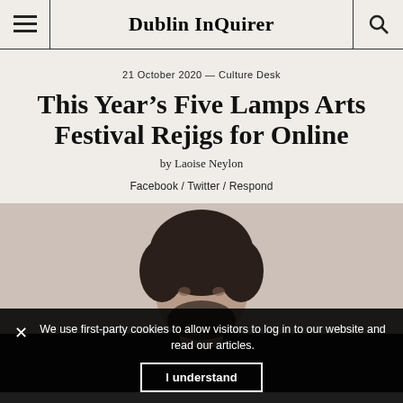Dublin InQuirer
21 October 2020 — Culture Desk
This Year's Five Lamps Arts Festival Rejigs for Online
by Laoise Neylon
Facebook / Twitter / Respond
[Figure (photo): Photo of a person with dark curly hair against a beige/grey background, partially obscured by cookie consent banner]
We use first-party cookies to allow visitors to log in to our website and read our articles.
I understand